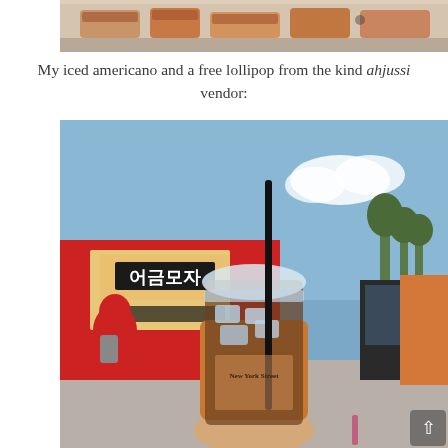[Figure (photo): Partial top photo showing food in a tray, cropped at the top of the page]
My iced americano and a free lollipop from the kind ahjussi vendor:
[Figure (photo): Photo of a person holding an iced americano in a plastic cup with a dome lid and black straw, with a New York Street branded sleeve and a purple lollipop, in front of a red Korean food truck with Korean signage (어금모자), with a woman in a red hijab visible on the left and blue sky in the background]